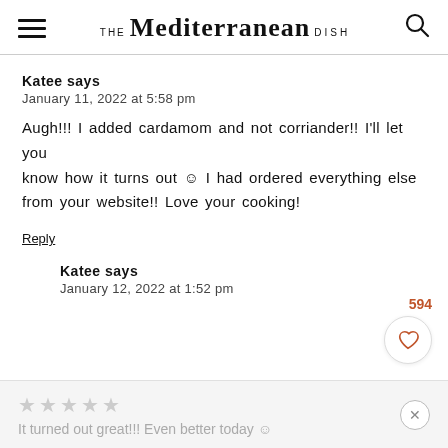THE Mediterranean DISH
Katee says
January 11, 2022 at 5:58 pm
Augh!!! I added cardamom and not corriander!! I'll let you know how it turns out 😊 I had ordered everything else from your website!! Love your cooking!
Reply
594
Katee says
January 12, 2022 at 1:52 pm
It turned out great!!! Even better today 😊